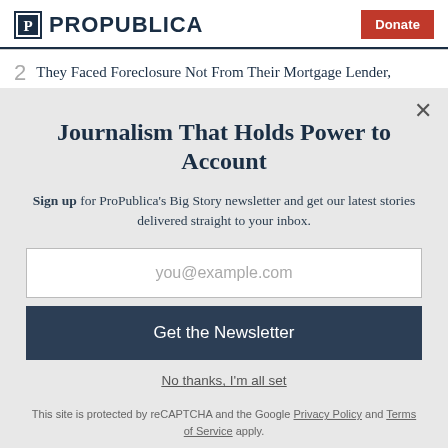ProPublica | Donate
2  They Faced Foreclosure Not From Their Mortgage Lender,
Journalism That Holds Power to Account
Sign up for ProPublica's Big Story newsletter and get our latest stories delivered straight to your inbox.
you@example.com
Get the Newsletter
No thanks, I'm all set
This site is protected by reCAPTCHA and the Google Privacy Policy and Terms of Service apply.